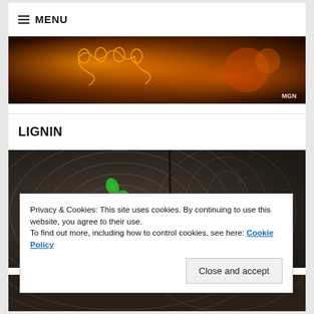≡ MENU
[Figure (photo): Dark background with orange/amber glowing chain or organism shapes (microscopy or illustration), watermarked MGN in bottom right corner]
LIGNIN
[Figure (photo): Cross-section of a tree trunk showing growth rings in dark grey/brown tones, with a green clover or leaf resting on the surface]
Privacy & Cookies: This site uses cookies. By continuing to use this website, you agree to their use.
To find out more, including how to control cookies, see here: Cookie Policy
Close and accept